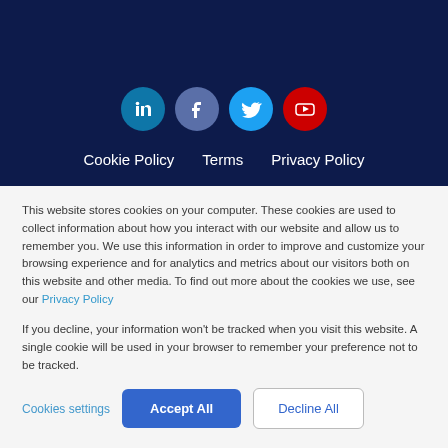[Figure (infographic): Social media icons: LinkedIn (teal circle), Facebook (grey-blue circle), Twitter (blue circle), YouTube (red circle)]
Cookie Policy   Terms   Privacy Policy
This website stores cookies on your computer. These cookies are used to collect information about how you interact with our website and allow us to remember you. We use this information in order to improve and customize your browsing experience and for analytics and metrics about our visitors both on this website and other media. To find out more about the cookies we use, see our Privacy Policy
If you decline, your information won't be tracked when you visit this website. A single cookie will be used in your browser to remember your preference not to be tracked.
Cookies settings   Accept All   Decline All